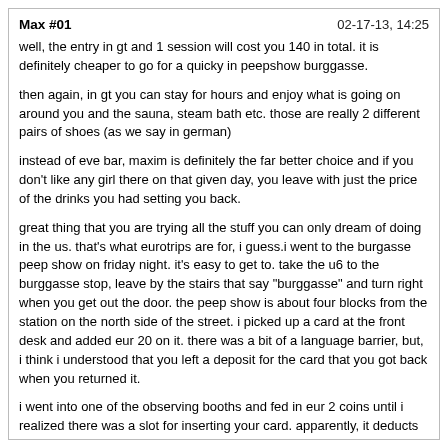Max #01    02-17-13, 14:25
well, the entry in gt and 1 session will cost you 140 in total. it is definitely cheaper to go for a quicky in peepshow burggasse.
then again, in gt you can stay for hours and enjoy what is going on around you and the sauna, steam bath etc. those are really 2 different pairs of shoes (as we say in german)
instead of eve bar, maxim is definitely the far better choice and if you don't like any girl there on that given day, you leave with just the price of the drinks you had setting you back.
great thing that you are trying all the stuff you can only dream of doing in the us. that's what eurotrips are for, i guess.i went to the burgasse peep show on friday night. it's easy to get to. take the u6 to the burggasse stop, leave by the stairs that say "burggasse" and turn right when you get out the door. the peep show is about four blocks from the station on the north side of the street. i picked up a card at the front desk and added eur 20 on it. there was a bit of a language barrier, but, i think i understood that you left a deposit for the card that you got back when you returned it.
i went into one of the observing booths and fed in eur 2 coins until i realized there was a slot for inserting your card. apparently, it deducts 1 euro at a time. also, a really good feature is the small screen that tells you the name of the girl performing. the screen also tells you how much money you have left on the card. i let the card go for a minute and then kept the screen closed until a few seconds after the name changed. i didn't try the special glory hole booth. it cost 5 euros and had a screen where you could "order" one of the girls off the menu.
there was a screen out front and a second one right behind the interior "saloon" doors where you could review all of the girls and what they charged for what. fortunately, the display could be changed to english. it looked like the basic cost of covered sex was eur 55. each girl had her own menu with what came with the 55 euros and what was extra. some of the girls offered bareback oral for an additional 10 euros. some didn't offer it at all. some offered anal and